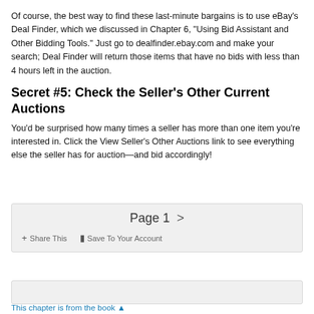Of course, the best way to find these last-minute bargains is to use eBay's Deal Finder, which we discussed in Chapter 6, "Using Bid Assistant and Other Bidding Tools." Just go to dealfinder.ebay.com and make your search; Deal Finder will return those items that have no bids with less than 4 hours left in the auction.
Secret #5: Check the Seller's Other Current Auctions
You'd be surprised how many times a seller has more than one item you're interested in. Click the View Seller's Other Auctions link to see everything else the seller has for auction—and bid accordingly!
Page 1  >
+ Share This   ▮ Save To Your Account
This chapter is from the book ▲